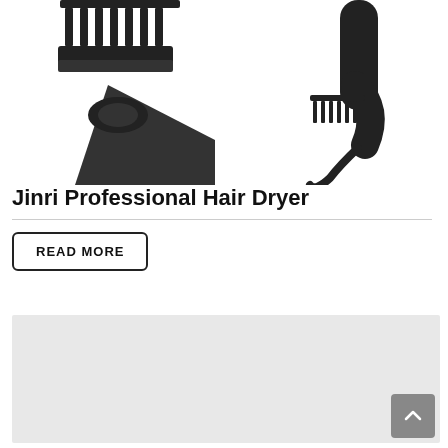[Figure (photo): Product photo showing hair dryer attachments (comb attachment and concentrator nozzle) on the left, and a hair dryer with comb attachment on the right, all in black on white background]
Jinri Professional Hair Dryer
READ MORE
[Figure (other): Gray placeholder rectangle area, likely for additional content or map]